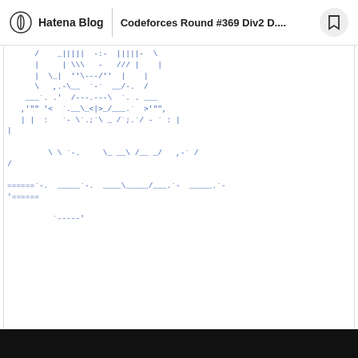Hatena Blog | Codeforces Round #369 Div2 D....
[Figure (other): ASCII art graphic made of special characters in blue color, resembling a decorative text-based illustration on a blog page about Codeforces Round #369 Div2 D.]